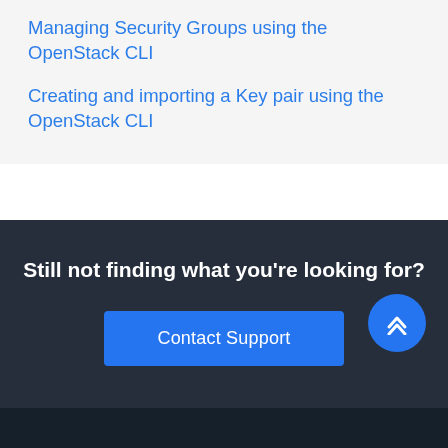Managing Security Groups using the OpenStack CLI
Creating and importing a Key pair using the OpenStack CLI
Still not finding what you're looking for?
Contact Support